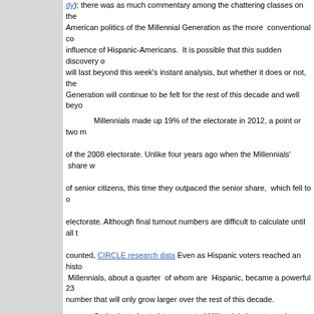dy); there was as much commentary among the chattering classes on the impact on American politics of the Millennial Generation as the more conventional commentary on the influence of Hispanic-Americans. It is possible that this sudden discovery of Millennials will last beyond this week's instant analysis, but whether it does or not, the Millennial Generation will continue to be felt for the rest of this decade and well beyond.
Millennials made up 19% of the electorate in 2012, a point or two more than their share of the 2008 electorate. Unlike four years ago when the Millennials' share was roughly equal of senior citizens, this time they outpaced the senior share, which fell to one less than the electorate. Although final turnout numbers are difficult to calculate until all the ballots are counted, CIRCLE research data Even as Hispanic voters reached an historic high, Millennials, about a quarter of whom are Hispanic, became a powerful 23 number that will only grow larger over the rest of this decade.
So far, just about sixty percent of Millennials have turned eighteen. Over the next decade will become eligible to vote, representing a 95 million voter opportunity for whichever party can successfully recruit them. If Millennials continue to participate at around the same rate as in presidential elections, they will eventually represent about a 47 million member electorate as they were in 2012. .
But it's not just the size of the generation that makes Millennials such a force. The largest American generation, Baby Boomers (born 1946-1964) have been held shaping values and preferences ever since they ignited the cultural wars of the 1960s. This generation's opportunity as an entire cohort and of more interest to politicians when they are reminded of the infamous and well-known gender gap that they created starting in the 1980s. They have consistently voted in a highly unified manner. Two-thirds of them voted for Barack Obama and voted for his re-election this year. Even though there are significant ethnic differences non-white, Millennial voting behavior continues to show the powerful pull of a generational approach to decision-making.